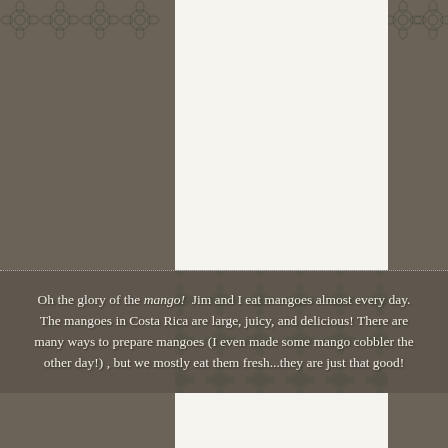[Figure (photo): White/cream rectangular photo placeholder area at the top center of the page]
Oh the glory of the mango! Jim and I eat mangoes almost every day. The mangoes in Costa Rica are large, juicy, and delicious! There are many ways to prepare mangoes (I even made some mango cobbler the other day!) , but we mostly eat them fresh...they are just that good!
[Figure (photo): White/cream rectangular photo placeholder area at the bottom center of the page]